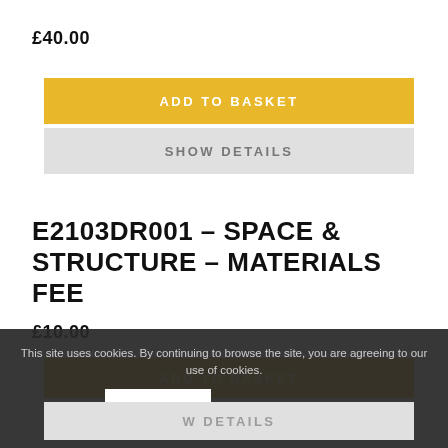£40.00
ADD TO BASKET
SHOW DETAILS
E2103DR001 – SPACE & STRUCTURE – MATERIALS FEE
£10.00
ADD TO BASKET
This site uses cookies. By continuing to browse the site, you are agreeing to our use of cookies.
OK
LEARN MORE
W DETAILS